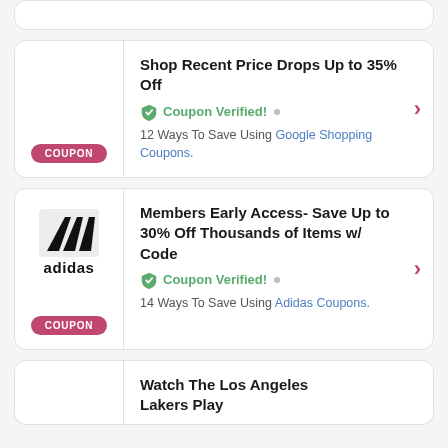[Figure (other): Partial top coupon card, cropped at top]
Shop Recent Price Drops Up to 35% Off
Coupon Verified! • 12 Ways To Save Using Google Shopping Coupons.
[Figure (logo): Adidas logo with three stripes and adidas text]
Members Early Access- Save Up to 30% Off Thousands of Items w/ Code
Coupon Verified! • 14 Ways To Save Using Adidas Coupons.
Watch The Los Angeles Lakers Play